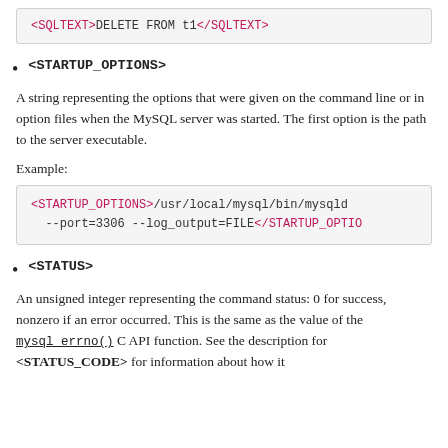[Figure (screenshot): Code box showing: <SQLTEXT>DELETE FROM t1</SQLTEXT>]
<STARTUP_OPTIONS>
A string representing the options that were given on the command line or in option files when the MySQL server was started. The first option is the path to the server executable.
Example:
[Figure (screenshot): Code box showing: <STARTUP_OPTIONS>/usr/local/mysql/bin/mysqld --port=3306 --log_output=FILE</STARTUP_OPTIONS>]
<STATUS>
An unsigned integer representing the command status: 0 for success, nonzero if an error occurred. This is the same as the value of the mysql_errno() C API function. See the description for <STATUS_CODE> for information about how it